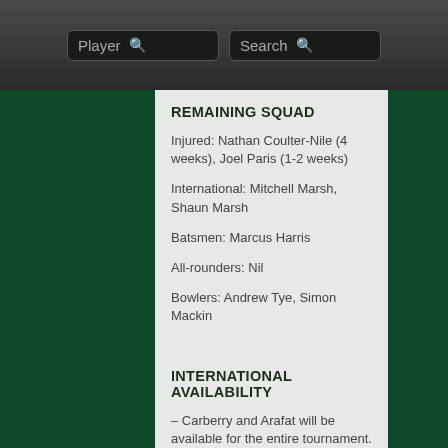Player | Search
REMAINING SQUAD
Injured: Nathan Coulter-Nile (4 weeks), Joel Paris (1-2 weeks)
International: Mitchell Marsh, Shaun Marsh
Batsmen: Marcus Harris
All-rounders: Nil
Bowlers: Andrew Tye, Simon Mackin
INTERNATIONAL AVAILABILITY
– Carberry and Arafat will be available for the entire tournament.